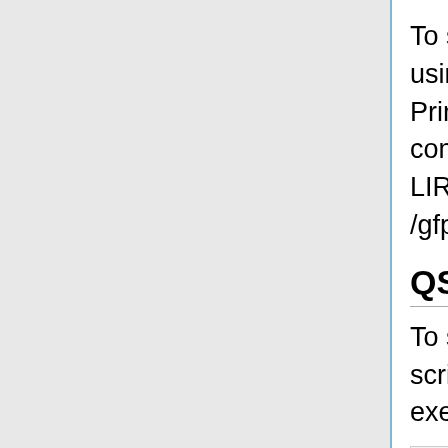To set up the virtual screen, make a directory using the command: "mkdir 05.largevirtualscreen" Print your working directory using the "pwd" command and copy this dock directory into your LIRED account: "scp -r /gfps/home/username/AMS536/docktutorial/ ."
QSUB File
To submit your job to the cluster, a qsub c chell script must be made so that the job can be executed. Its contents should be as follows:
#! /bin/tcsh
#PBS -l nodes=2:ppn=2
#PBS -l walltime=24:00:00
#PBS -o zzz.qsub.out